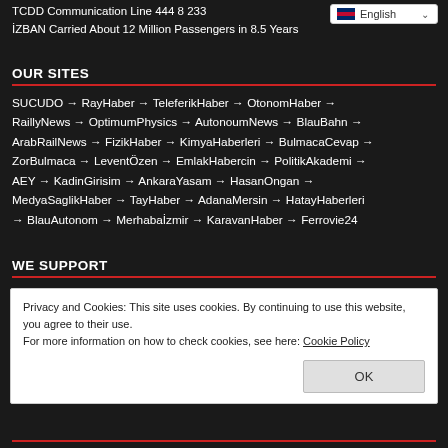TCDD Communication Line 444 8 233
İZBAN Carried About 12 Million Passengers in 8.5 Years
OUR SITES
SUCUDO → RayHaber → TeleferikHaber → OtonomHaber → RaillyNews → OptimumPhysics → AutonoumNews → BlauBahn → ArabRailNews → FizikHaber → KimyaHaberleri → BulmacaCevap → ZorBulmaca → LeventÖzen → EmlakHabercin → PolitikAkademi → AEY → KadinGirisim → AnkaraYasam → HasanOngan → MedyaSaglikHaber → TayHaber → AdanaMersin → HatayHaberleri → BlauAutonom → Merhabaİzmir → KaravanHaber → Ferrovie24
WE SUPPORT
Privacy and Cookies: This site uses cookies. By continuing to use this website, you agree to their use.
For more information on how to check cookies, see here: Cookie Policy